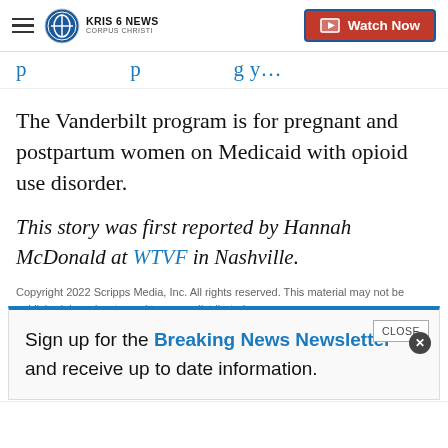KRIS 6 NEWS CORPUS CHRISTI | Watch Now
p … p g y…
The Vanderbilt program is for pregnant and postpartum women on Medicaid with opioid use disorder.
This story was first reported by Hannah McDonald at WTVF in Nashville.
Copyright 2022 Scripps Media, Inc. All rights reserved. This material may not be published, broadcast, rewritten, or redistributed.
Sign up for the Breaking News Newsletter and receive up to date information.